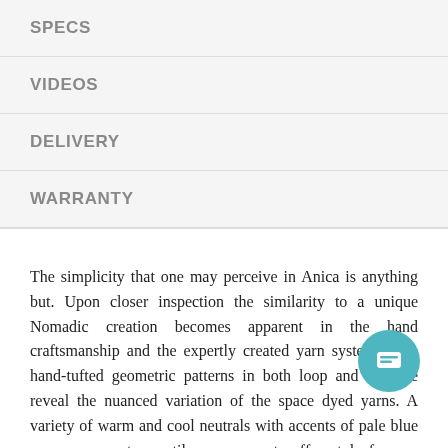SPECS
VIDEOS
DELIVERY
WARRANTY
The simplicity that one may perceive in Anica is anything but. Upon closer inspection the similarity to a unique Nomadic creation becomes apparent in the hand craftsmanship and the expertly created yarn systems. The hand-tufted geometric patterns in both loop and cut pile reveal the nuanced variation of the space dyed yarns. A variety of warm and cool neutrals with accents of pale blue and ever-present versatile cream create effortless style for any home.Explore beautiful home design with Anicas artisanal complexity